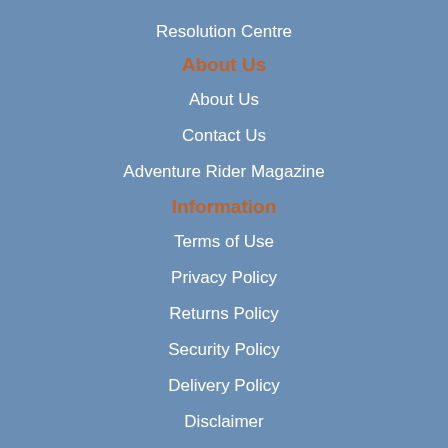Resolution Centre
About Us
About Us
Contact Us
Adventure Rider Magazine
Information
Terms of Use
Privacy Policy
Returns Policy
Security Policy
Delivery Policy
Disclaimer
FAQ